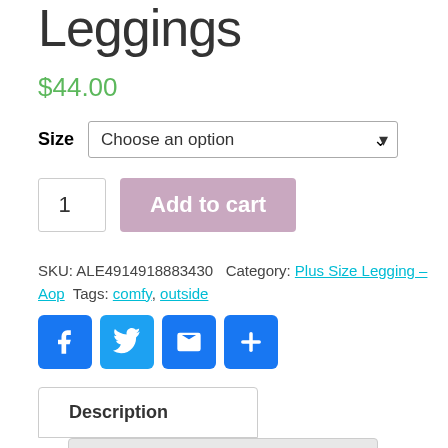Leggings
$44.00
Size  Choose an option
1  Add to cart
SKU: ALE4914918883430  Category: Plus Size Legging – Aop  Tags: comfy, outside
[Figure (infographic): Social sharing icons: Facebook, Twitter, Email, Share (plus sign), all blue rounded squares]
Description
Additional information